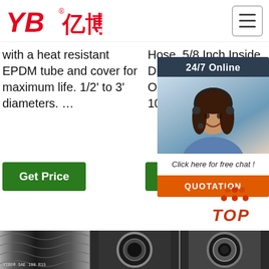[Figure (logo): YB亿博 logo in red with registered trademark symbol]
with a heat resistant EPDM tube and cover for maximum life. 1/2' to 3' diameters. …
Hose, 5/8 Inch Inside Diameter X 7/8 Inch Outside Diameter X 10 Ft Coil.
Dairy Beverage Gra G-1 G-1 Con Pipe SDR Tub Nec Hea Fibe
[Figure (screenshot): 24/7 Online chat widget with customer service representative photo, 'Click here for free chat!' text, and QUOTATION orange button]
Get Price
Get Price
Get Price
[Figure (photo): Bottom row of product hose images: braided hose with YIBO SAE 100 R15 label, round cross-section hose, and another round hose cross-section]
[Figure (other): TOP button with orange dot pattern and italic text]